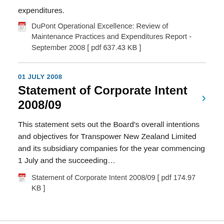expenditures.
DuPont Operational Excellence: Review of Maintenance Practices and Expenditures Report - September 2008 [ pdf 637.43 KB ]
01 JULY 2008
Statement of Corporate Intent 2008/09
This statement sets out the Board's overall intentions and objectives for Transpower New Zealand Limited and its subsidiary companies for the year commencing 1 July and the succeeding…
Statement of Corporate Intent 2008/09 [ pdf 174.97 KB ]